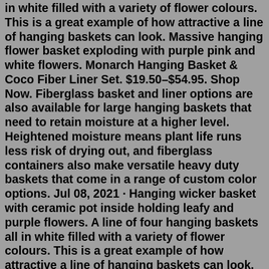in white filled with a variety of flower colours. This is a great example of how attractive a line of hanging baskets can look. Massive hanging flower basket exploding with purple pink and white flowers. Monarch Hanging Basket & Coco Fiber Liner Set. $19.50–$54.95. Shop Now. Fiberglass basket and liner options are also available for large hanging baskets that need to retain moisture at a higher level. Heightened moisture means plant life runs less risk of drying out, and fiberglass containers also make versatile heavy duty baskets that come in a range of custom color options. Jul 08, 2021 · Hanging wicker basket with ceramic pot inside holding leafy and purple flowers. A line of four hanging baskets all in white filled with a variety of flower colours. This is a great example of how attractive a line of hanging baskets can look. Massive hanging flower basket exploding with purple pink and white flowers. From: $23.79 View Options. Saucerless Hanging Baskets. CN-HBS. From: $33.65 View Options. Centabella Hanging Basket + Hanger. CN-CBH. $149.75 $21.05.